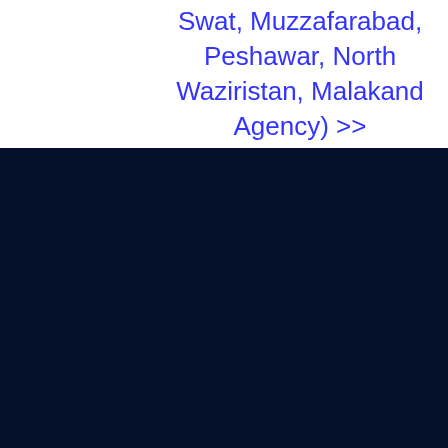Swat, Muzzafarabad, Peshawar, North Waziristan, Malakand Agency) >>
[Figure (other): Dark navy blue background panel filling the lower portion of the page]